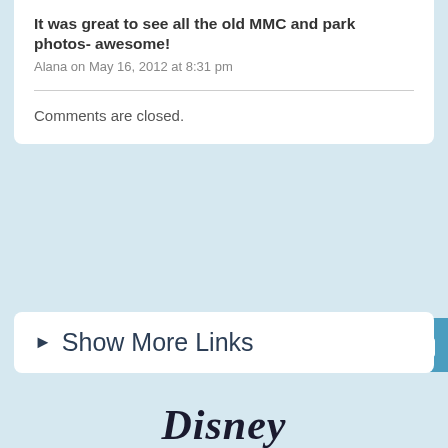It was great to see all the old MMC and park photos- awesome!
Alana on May 16, 2012 at 8:31 pm
Comments are closed.
▶ Show More Links
[Figure (logo): Disney logo in cursive script]
About Disney   Disney Help   Careers   Contact Us   Disney Family   Terms of Use   Legal Notices   Privacy Policy   Your California Privacy Rights   Children's Online Privacy Policy   Interest-Based Ads   Do Not Sell My Personal Information   © Disney, All Rights Reserved